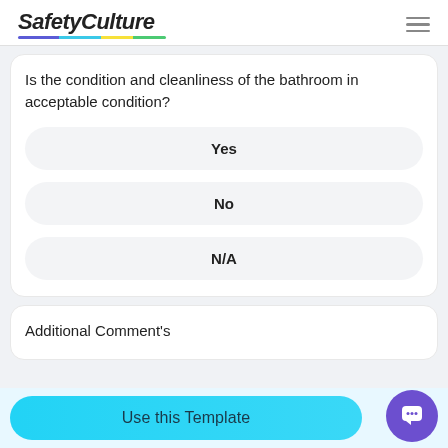SafetyCulture
Is the condition and cleanliness of the bathroom in acceptable condition?
Yes
No
N/A
Additional Comment's
Use this Template